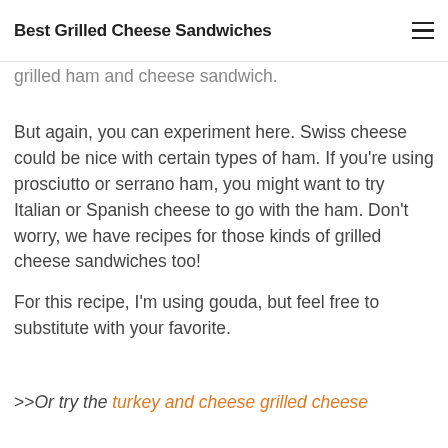Best Grilled Cheese Sandwiches
favorite. I actually prefer something like gouda, but something like a grilled ham and cheese sandwich.
But again, you can experiment here. Swiss cheese could be nice with certain types of ham. If you're using prosciutto or serrano ham, you might want to try Italian or Spanish cheese to go with the ham. Don't worry, we have recipes for those kinds of grilled cheese sandwiches too!
For this recipe, I'm using gouda, but feel free to substitute with your favorite.
>>Or try the turkey and cheese grilled cheese